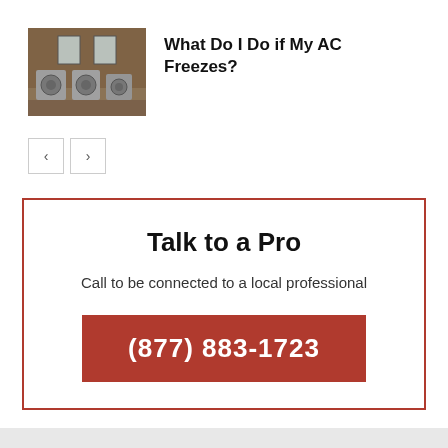[Figure (photo): Photo of AC units / air conditioning outdoor condensers outside a brick building]
What Do I Do if My AC Freezes?
[Figure (other): Navigation arrows: left arrow button and right arrow button]
Talk to a Pro
Call to be connected to a local professional
(877) 883-1723